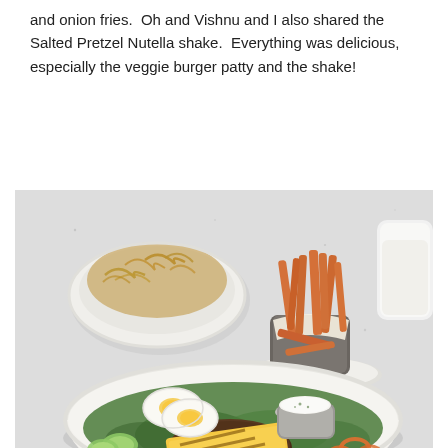and onion fries.  Oh and Vishnu and I also shared the Salted Pretzel Nutella shake.  Everything was delicious, especially the veggie burger patty and the shake!
[Figure (photo): A restaurant table with a large white bowl containing a salad with a grilled veggie burger patty, sliced hard-boiled eggs, pineapple slices, cucumber, carrots, greens, and a small cup of white dipping sauce. Behind it is a bowl of onion fries and a cup/container of sweet potato fries, along with a glass of milkshake visible at the top right.]